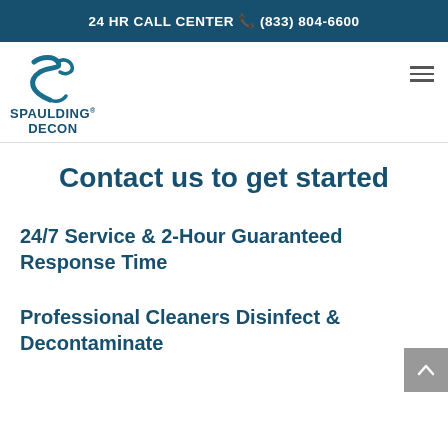24 HR CALL CENTER 📞 (833) 804-6600
[Figure (logo): Spaulding Decon logo with stylized S and hand graphic, company name below]
Contact us to get started
24/7 Service & 2-Hour Guaranteed Response Time
Professional Cleaners Disinfect & Decontaminate